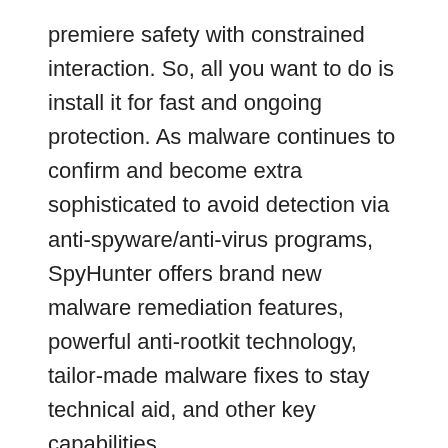premiere safety with constrained interaction. So, all you want to do is install it for fast and ongoing protection. As malware continues to confirm and become extra sophisticated to avoid detection via anti-spyware/anti-virus programs, SpyHunter offers brand new malware remediation features, powerful anti-rootkit technology, tailor-made malware fixes to stay technical aid, and other key capabilities.
SpyHunter 5 Crack is an exceptional tool for every computer consumer as it has the potential to solve all troubles that result in malware assaults. Rootkits assaults on encrypted hidden folders and files. Then again, SpyHunter 5 Activation Code now introduces the short rootkit test and provides you with a warning by